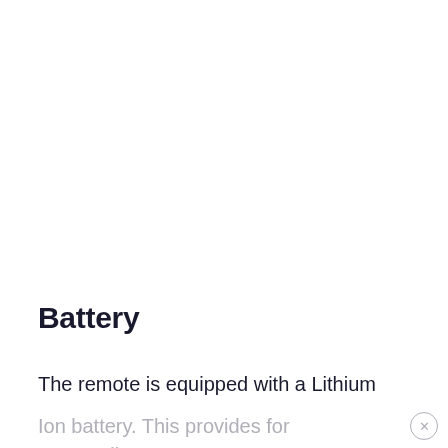Battery
The remote is equipped with a Lithium Ion battery. This provides for outstanding battery life, lasting several days on a